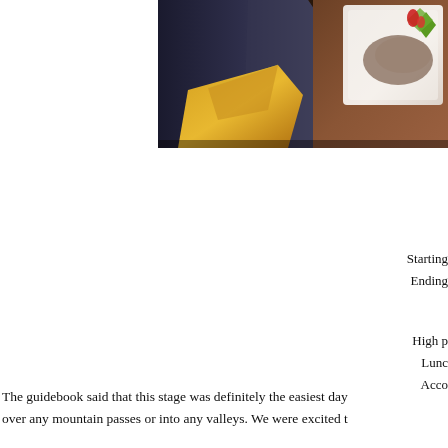[Figure (photo): A restaurant dining table scene viewed from above/angle, showing a dark wooden table with a dark blue/grey upholstered chair back, a folded golden/yellow napkin in the foreground left, and a white plate with food garnished with red and green accents on the right side.]
Starting
Ending
High p
Lunc
Acco
The guidebook said that this stage was definitely the easiest day over any mountain passes or into any valleys. We were excited t